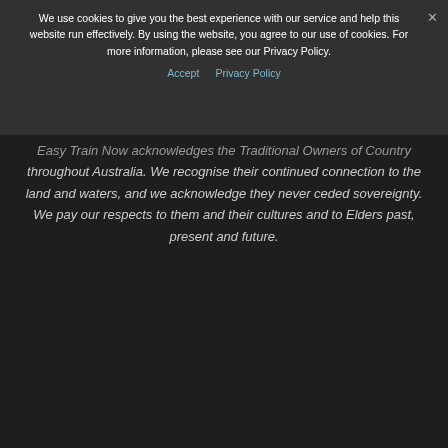We use cookies to give you the best experience with our service and help this website run effectively. By using the website, you agree to our use of cookies. For more information, please see our Privacy Policy.
Accept   Privacy Policy
Easy Train Now acknowledges the Traditional Owners of Country throughout Australia. We recognise their continued connection to the land and waters, and we acknowledge they never ceded sovereignty. We pay our respects to them and their cultures and to Elders past, present and future.